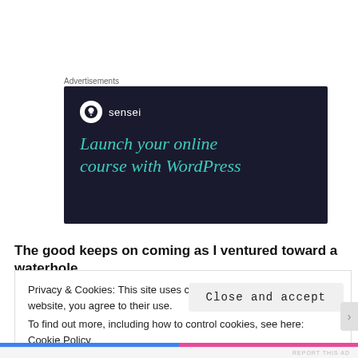Advertisements
[Figure (advertisement): Sensei plugin advertisement on dark navy background. Shows Sensei logo (tree in white circle) with brand name 'sensei' and headline text: 'Launch your online course with WordPress' in teal/turquoise italic font.]
The good keeps on coming as I ventured toward a waterhole
Privacy & Cookies: This site uses cookies. By continuing to use this website, you agree to their use.
To find out more, including how to control cookies, see here: Cookie Policy
Close and accept